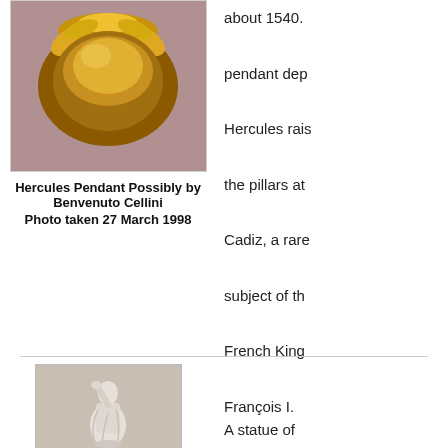[Figure (photo): Close-up photo of a golden Hercules pendant with ornate golden floral/leaf decorations, photographed against a purple/mauve background.]
Hercules Pendant Possibly by Benvenuto Cellini
Photo taken 27 March 1998
about 1540.

pendant dep

Hercules rais

the pillars at

Cadiz, a rare

subject of th

French King

François I.
[Figure (photo): A statue of a draped female figure in white marble, posed with one arm raised to her head.]
A statue of